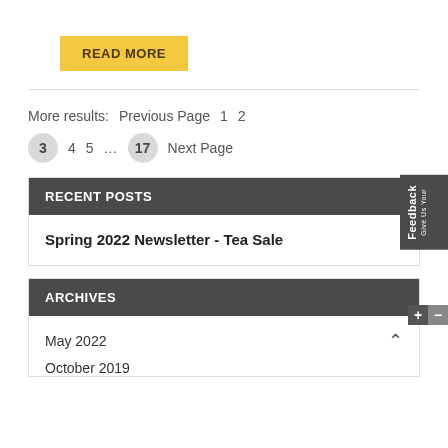READ MORE
More results:  Previous Page  1  2  3  4  5  ...  17  Next Page
RECENT POSTS
Spring 2022 Newsletter - Tea Sale
ARCHIVES
May 2022
October 2019